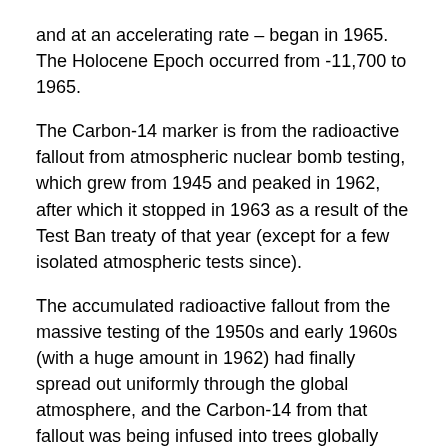and at an accelerating rate – began in 1965. The Holocene Epoch occurred from -11,700 to 1965.
The Carbon-14 marker is from the radioactive fallout from atmospheric nuclear bomb testing, which grew from 1945 and peaked in 1962, after which it stopped in 1963 as a result of the Test Ban treaty of that year (except for a few isolated atmospheric tests since).
The accumulated radioactive fallout from the massive testing of the 1950s and early 1960s (with a huge amount in 1962) had finally spread out uniformly through the global atmosphere, and the Carbon-14 from that fallout was being infused into trees globally through the process of photosynthesis.
So, this spike in tree-ring Carbon-14 in 1965 is a GLOBAL marker of human activity and also indicates the